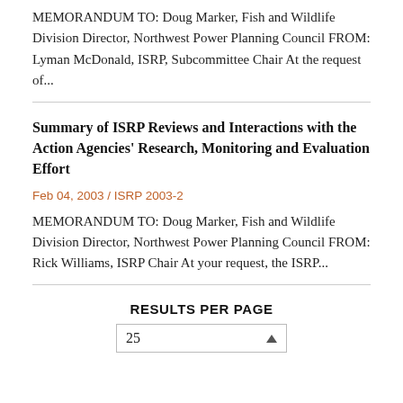MEMORANDUM TO: Doug Marker, Fish and Wildlife Division Director, Northwest Power Planning Council FROM: Lyman McDonald, ISRP, Subcommittee Chair At the request of...
Summary of ISRP Reviews and Interactions with the Action Agencies' Research, Monitoring and Evaluation Effort
Feb 04, 2003 / ISRP 2003-2
MEMORANDUM TO: Doug Marker, Fish and Wildlife Division Director, Northwest Power Planning Council FROM: Rick Williams, ISRP Chair At your request, the ISRP...
RESULTS PER PAGE
25